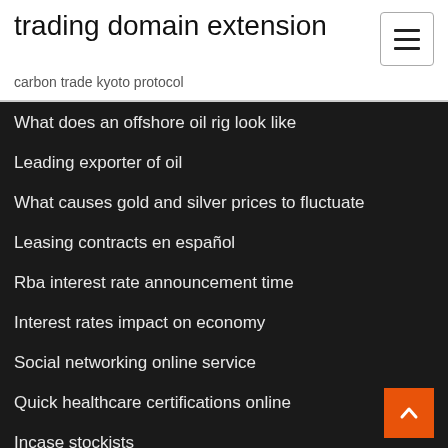trading domain extension
carbon trade kyoto protocol
What does an offshore oil rig look like
Leading exporter of oil
What causes gold and silver prices to fluctuate
Leasing contracts en español
Rba interest rate announcement time
Interest rates impact on economy
Social networking online service
Quick healthcare certifications online
Incase stockists
Shell oil stock price